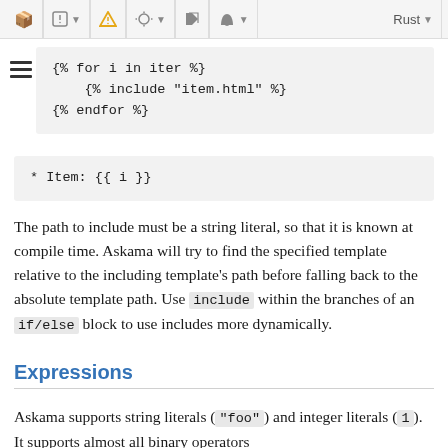[Figure (screenshot): Toolbar with icons: cube with caret, warning triangle, settings with caret, flag, leaf with caret, and 'Rust' text with caret]
{% for i in iter %}
    {% include "item.html" %}
{% endfor %}
* Item: {{ i }}
The path to include must be a string literal, so that it is known at compile time. Askama will try to find the specified template relative to the including template's path before falling back to the absolute template path. Use include within the branches of an if/else block to use includes more dynamically.
Expressions
Askama supports string literals ("foo") and integer literals (1). It supports almost all binary operators